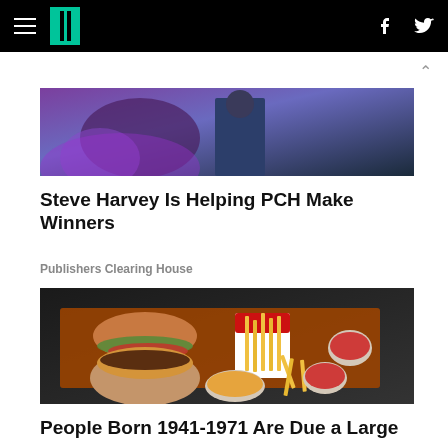HuffPost navigation bar with hamburger menu, logo, Facebook and Twitter icons
[Figure (photo): Person in blue suit on stage with purple lighting in background]
Steve Harvey Is Helping PCH Make Winners
Publishers Clearing House
[Figure (photo): Hand holding a burger with toppings including tomatoes and lettuce, fast food tray with french fries spilling out of a carton, dipping sauces on a dark tray with printed mat]
People Born 1941-1971 Are Due a Large